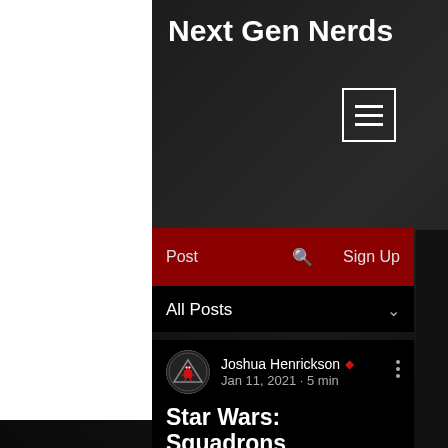Next Gen Nerds
[Figure (other): Hamburger menu icon (three horizontal lines) inside a white-bordered square]
Post  🔍  Sign Up
All Posts ∨
[Figure (logo): Next Gen Nerds circular avatar with robot icon]
Joshua Henrickson 👑
Jan 11, 2021 · 5 min
Star Wars: Squadrons
Updated: Jan 12, 2021